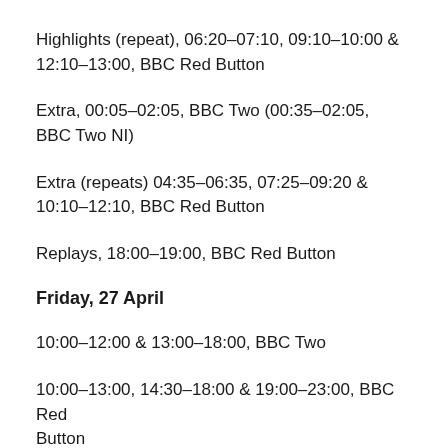Highlights (repeat), 06:20-07:10, 09:10-10:00 & 12:10-13:00, BBC Red Button
Extra, 00:05-02:05, BBC Two (00:35-02:05, BBC Two NI)
Extra (repeats) 04:35-06:35, 07:25-09:20 & 10:10-12:10, BBC Red Button
Replays, 18:00-19:00, BBC Red Button
Friday, 27 April
10:00-12:00 & 13:00-18:00, BBC Two
10:00-13:00, 14:30-18:00 & 19:00-23:00, BBC Red Button